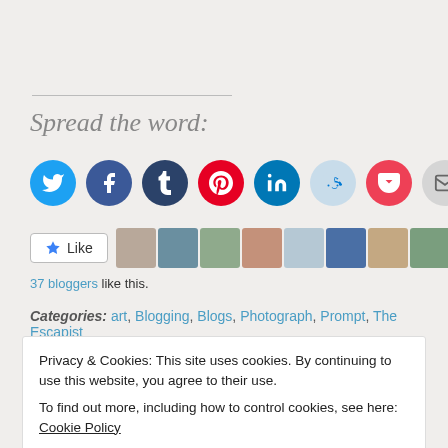Spread the word:
[Figure (infographic): Row of social share icon buttons: Twitter (blue), Facebook (blue), Tumblr (dark blue), Pinterest (red), LinkedIn (teal), Reddit (light blue), Pocket (red), Email (gray)]
[Figure (infographic): Like button with star icon and a strip of blogger avatars (profile photos)]
37 bloggers like this.
Categories: art, Blogging, Blogs, Photograph, Prompt, The Escapist
Privacy & Cookies: This site uses cookies. By continuing to use this website, you agree to their use.
To find out more, including how to control cookies, see here: Cookie Policy